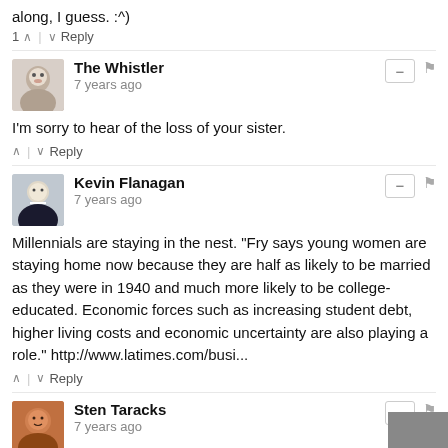along, I guess. :^)
1 ∧ | ∨ Reply
The Whistler
7 years ago
I'm sorry to hear of the loss of your sister.
∧ | ∨ Reply
Kevin Flanagan
7 years ago
Millennials are staying in the nest. "Fry says young women are staying home now because they are half as likely to be married as they were in 1940 and much more likely to be college-educated. Economic forces such as increasing student debt, higher living costs and economic uncertainty are also playing a role." http://www.latimes.com/busi...
∧ | ∨ Reply
Sten Taracks
7 years ago
". . . because I'm an old guy who never experienced a desire not to be married. So the tendency to stay single is a societal